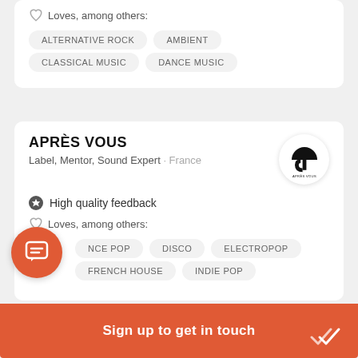Loves, among others:
ALTERNATIVE ROCK
AMBIENT
CLASSICAL MUSIC
DANCE MUSIC
APRÈS VOUS
Label, Mentor, Sound Expert · France
High quality feedback
Loves, among others:
FRANCE POP
DISCO
ELECTROPOP
FRENCH HOUSE
INDIE POP
Sign up to get in touch